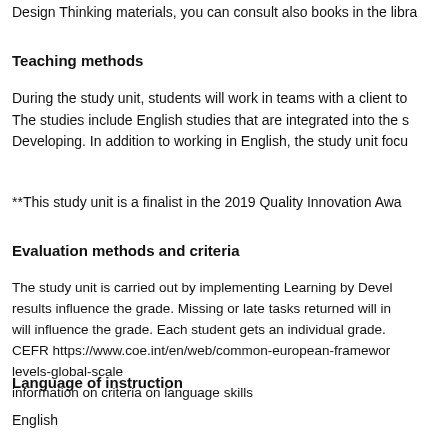Design Thinking materials, you can consult also books in the libra
Teaching methods
During the study unit, students will work in teams with a client to The studies include English studies that are integrated into the s Developing. In addition to working in English, the study unit focu
**This study unit is a finalist in the 2019 Quality Innovation Awa
Evaluation methods and criteria
The study unit is carried out by implementing Learning by Devel results influence the grade. Missing or late tasks returned will in will influence the grade. Each student gets an individual grade. CEFR https://www.coe.int/en/web/common-european-framewor levels-global-scale information on criteria on language skills
Language of instruction
English